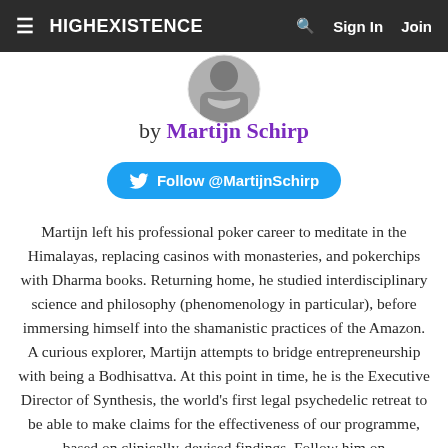≡ HIGHEXISTENCE  🔍  Sign In  Join
[Figure (photo): Profile photo of Martijn Schirp, partially cropped, showing head and scarf]
by Martijn Schirp
Follow @MartijnSchirp
Martijn left his professional poker career to meditate in the Himalayas, replacing casinos with monasteries, and pokerchips with Dharma books. Returning home, he studied interdisciplinary science and philosophy (phenomenology in particular), before immersing himself into the shamanistic practices of the Amazon. A curious explorer, Martijn attempts to bridge entrepreneurship with being a Bodhisattva. At this point in time, he is the Executive Director of Synthesis, the world's first legal psychedelic retreat to be able to make claims for the effectiveness of our programme, based on clinically-devised findings. Follow him on